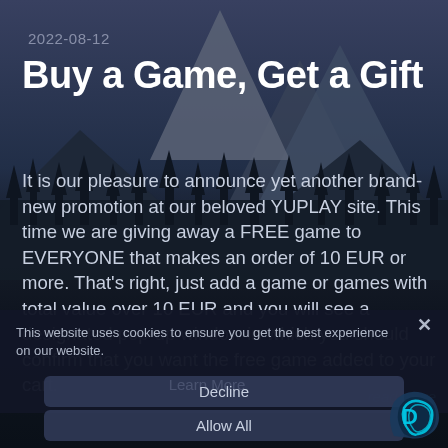2022-08-12
Buy a Game, Get a Gift
It is our pleasure to announce yet another brand-new promotion at our beloved YUPLAY site. This time we are giving away a FREE game to EVERYONE that makes an order of 10 EUR or more. That's right, just add a game or games with total value over 10 EUR and you will see a designated pop-up window in which you should confirm that you want the free game added to your cart.
...read more
This website uses cookies to ensure you get the best experience on our website.
Learn More
Decline
Allow All